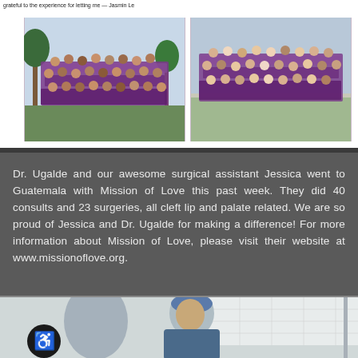[Figure (photo): Handwritten note at top with two group photos of people wearing purple scrubs and khaki pants]
Dr. Ugalde and our awesome surgical assistant Jessica went to Guatemala with Mission of Love this past week. They did 40 consults and 23 surgeries, all cleft lip and palate related. We are so proud of Jessica and Dr. Ugalde for making a difference! For more information about Mission of Love, please visit their website at www.missionoflove.org.
[Figure (photo): Medical operating room scene with surgeon in blue scrubs and cap, accessibility wheelchair icon badge visible in lower left]